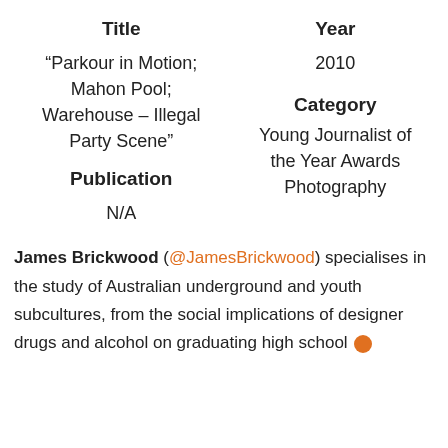| Title | Year |
| --- | --- |
| “Parkour in Motion; Mahon Pool; Warehouse – Illegal Party Scene” | 2010 |
| Publication | Category |
| --- | --- |
| N/A | Young Journalist of the Year Awards Photography |
James Brickwood (@JamesBrickwood) specialises in the study of Australian underground and youth subcultures, from the social implications of designer drugs and alcohol on graduating high school